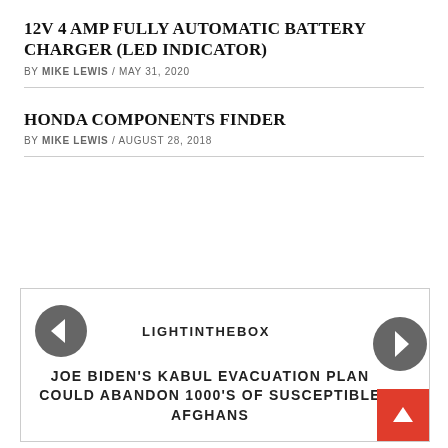12V 4 AMP FULLY AUTOMATIC BATTERY CHARGER (LED INDICATOR)
BY MIKE LEWIS / MAY 31, 2020
HONDA COMPONENTS FINDER
BY MIKE LEWIS / AUGUST 28, 2018
[Figure (infographic): Navigation widget with left arrow circle, 'LIGHTINTHEBOX' label, and next article title 'JOE BIDEN'S KABUL EVACUATION PLAN COULD ABANDON 1000'S OF SUSCEPTIBLE AFGHANS', with right arrow circle and red scroll-to-top button]
LIGHTINTHEBOX
JOE BIDEN'S KABUL EVACUATION PLAN COULD ABANDON 1000'S OF SUSCEPTIBLE AFGHANS